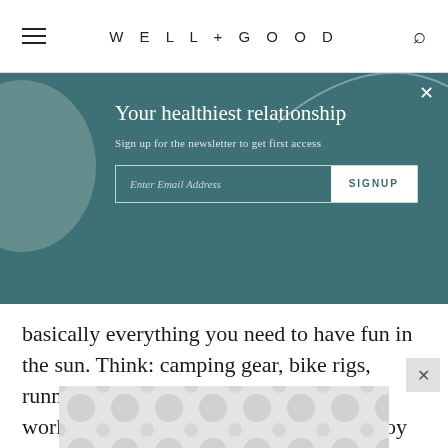WELL+GOOD
[Figure (screenshot): Newsletter signup modal overlay on teal/dark cyan background with decorative abstract shapes. Contains heading 'Your healthiest relationship', subtext 'Sign up for the newsletter to get first access', an email input field, and a SIGNUP button. A close (X) button is in the top right.]
basically everything you need to have fun in the sun. Think: camping gear, bike rigs, running shoes, hydration bladders... the works. Plus, REI co-op members will enjoy additional price reductions, so if you haven't signed up for their $30 lifetime (yes, lifetime) membership, now is the time, fam. If you
[Figure (other): Advertisement banner with repeating circular dot pattern in grey tones]